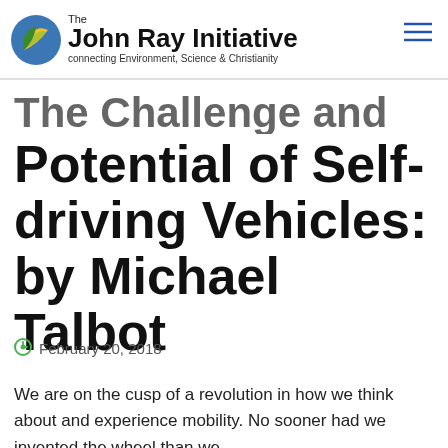The John Ray Initiative — connecting Environment, Science & Christianity
The Challenge and Potential of Self-driving Vehicles: by Michael Talbot
February 20, 2018
We are on the cusp of a revolution in how we think about and experience mobility. No sooner had we invented the wheel than we started thinking about how to automate the mundane